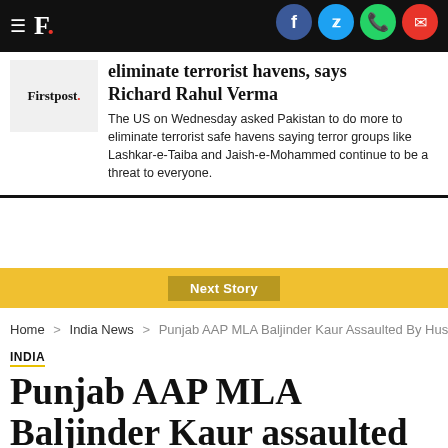F. [Firstpost logo with social icons: Facebook, Twitter, WhatsApp, Email]
eliminate terrorist havens, says Richard Rahul Verma
The US on Wednesday asked Pakistan to do more to eliminate terrorist safe havens saying terror groups like Lashkar-e-Taiba and Jaish-e-Mohammed continue to be a threat to everyone.
Next Story
Home > India News > Punjab AAP MLA Baljinder Kaur Assaulted By Husband
INDIA
Punjab AAP MLA Baljinder Kaur assaulted by husband, video goes viral